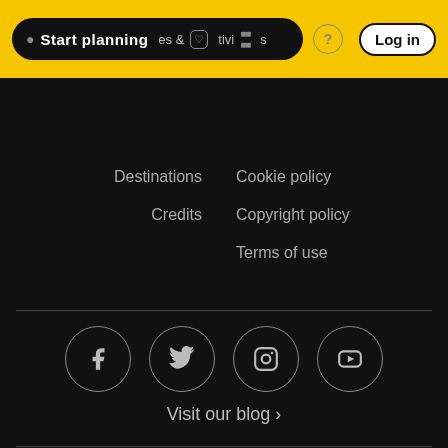Start planning | Destinations & Activities | ? | Log in
Destinations
Cookie policy
Credits
Copyright policy
Terms of use
[Figure (illustration): Social media icons in circles: Facebook, Twitter, Instagram, YouTube]
Visit our blog ›
Powered by Inspirock®
Images and information provided through Inspirock® Ukraine Trip Planner
powered by Google